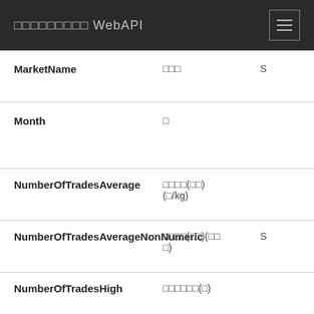□□□□□□□□□ WebAPI
| Field | Japanese | Extra |
| --- | --- | --- |
| MarketName | □□□ | S |
| Month | □ |  |
| NumberOfTradesAverage | □□□□(□□)(□/kg) |  |
| NumberOfTradesAverageNonNumeric | □□□□(□□)(□□□) | S |
| NumberOfTradesHigh | □□□□□□(□) |  |
| NumberOfTradesHighNonNumeric | Test API |  |